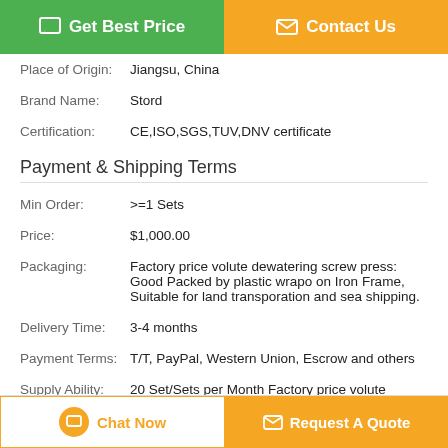Get Best Price | Contact Us
Place of Origin: Jiangsu, China
Brand Name: Stord
Certification: CE,ISO,SGS,TUV,DNV certificate
Payment & Shipping Terms
| Field | Value |
| --- | --- |
| Min Order: | >=1 Sets |
| Price: | $1,000.00 |
| Packaging: | Factory price volute dewatering screw press: Good Packed by plastic wrapo on Iron Frame, Suitable for land transporation and sea shipping. |
| Delivery Time: | 3-4 months |
| Payment Terms: | T/T, PayPal, Western Union, Escrow and others |
| Supply Ability: | 20 Set/Sets per Month Factory price volute dewatering screw press |
Description
Chat Now | Request A Quote